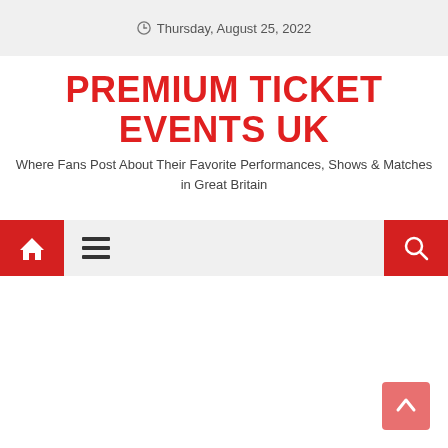Thursday, August 25, 2022
PREMIUM TICKET EVENTS UK
Where Fans Post About Their Favorite Performances, Shows & Matches in Great Britain
[Figure (screenshot): Navigation bar with home icon button on left, hamburger menu icon, and search icon button on right, all on a light gray background.]
[Figure (screenshot): Back to top button (upward arrow) in salmon/red color at bottom right corner.]